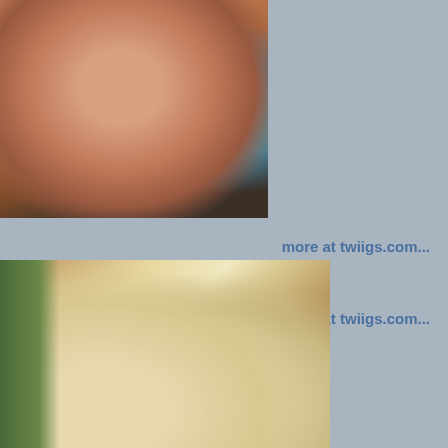[Figure (photo): Close-up portrait photo of a man with a mustache and curly brown hair, blue-green eyes, bare shoulders, with a teal/turquoise blurred background]
more at twiigs.com...
more at twiigs.com...
[Figure (photo): Photo of two blonde women standing side by side indoors, smiling at the camera]